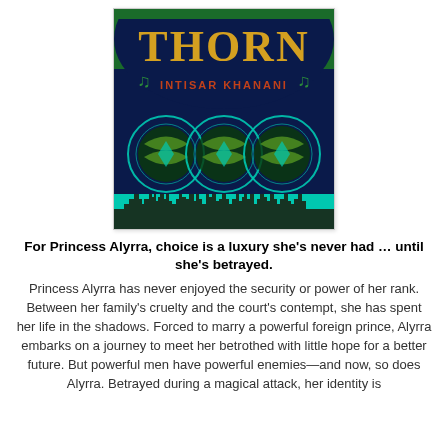[Figure (illustration): Book cover of 'Thorn' by Intisar Khanani. Dark navy blue background with ornate gold lettering spelling THORN at the top, author name INTISAR KHANANI in orange/red beneath it. Green decorative swirl borders frame the top. Three large circular medallion shapes with teal/cyan glow and green wing-like designs are arranged across the middle. A dark city silhouette appears at the bottom against a teal/cyan strip.]
For Princess Alyrra, choice is a luxury she's never had … until she's betrayed. Princess Alyrra has never enjoyed the security or power of her rank. Between her family's cruelty and the court's contempt, she has spent her life in the shadows. Forced to marry a powerful foreign prince, Alyrra embarks on a journey to meet her betrothed with little hope for a better future. But powerful men have powerful enemies—and now, so does Alyrra. Betrayed during a magical attack, her identity is